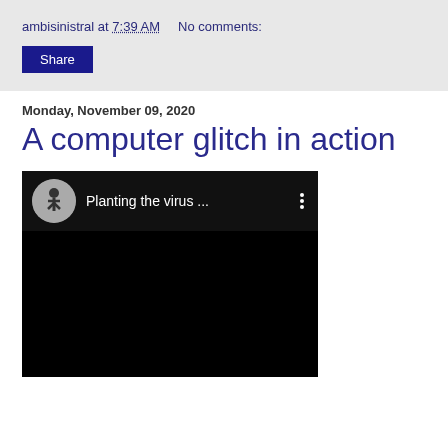ambisinistral at 7:39 AM   No comments:
Share
Monday, November 09, 2020
A computer glitch in action
[Figure (screenshot): Embedded YouTube-style video thumbnail showing a dark video player interface with a circular avatar icon of a person walking, text 'Planting the virus ...' and a three-dot menu icon on a black background.]